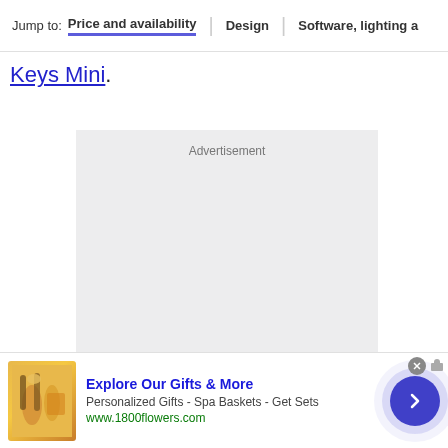Jump to: Price and availability | Design | Software, lighting a
Keys Mini.
[Figure (other): Gray advertisement placeholder box with 'Advertisement' label]
[Figure (other): Bottom banner advertisement for 1800flowers.com: Explore Our Gifts & More - Personalized Gifts - Spa Baskets - Get Sets - www.1800flowers.com]